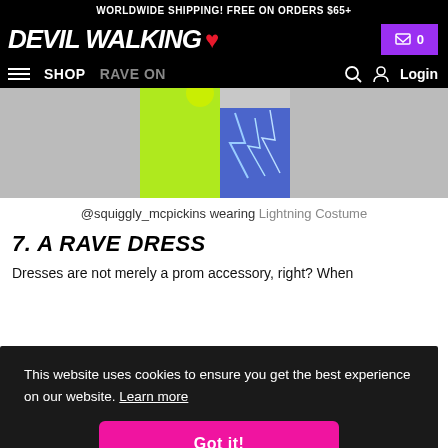WORLDWIDE SHIPPING! FREE ON ORDERS $65+
DEVIL WALKING [heart logo] [cart] 0
SHOP   RAVE ON   [search] [user] Login
[Figure (photo): Person wearing neon yellow-green vest and blue lightning-print leggings, standing against a grey wall.]
@squiggly_mcpickins wearing Lightning Costume
7. A RAVE DRESS
Dresses are not merely a prom accessory, right? When ... rely
This website uses cookies to ensure you get the best experience on our website. Learn more
Got it!
A blast skater dress in a chosen pattern;